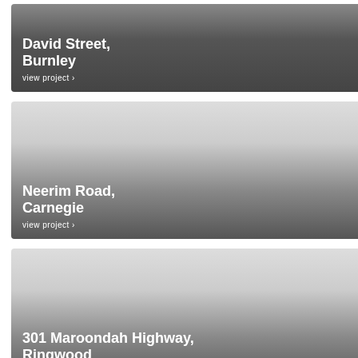[Figure (photo): Project card with gradient overlay showing David Street, Burnley with view project link]
[Figure (photo): Project card with gradient overlay showing Neerim Road, Carnegie with view project link]
[Figure (photo): Project card with gradient overlay showing 301 Maroondah Highway, Ringwood with view project link]
[Figure (photo): Partial project card at bottom of page, content not visible]